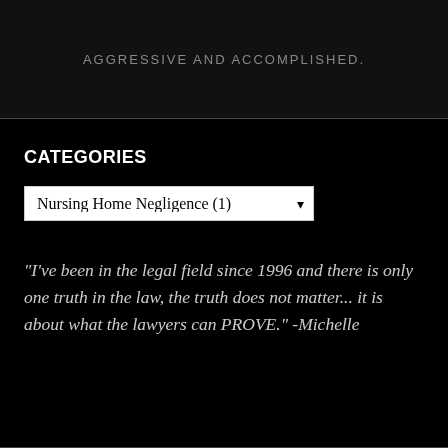AGGRESSIVE AND ACCOMPLISHED.
CATEGORIES
Nursing Home Negligence  (1)
"I've been in the legal field since 1996 and there is only one truth in the law, the truth does not matter... it is about what the lawyers can PROVE." -Michelle